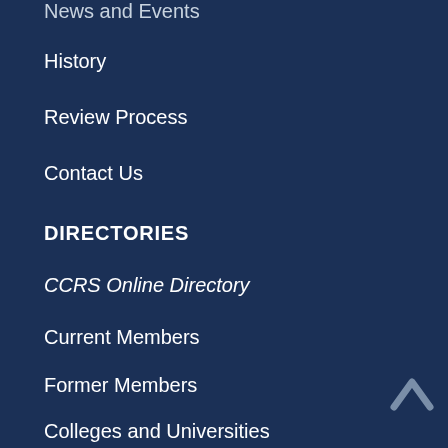News and Events
History
Review Process
Contact Us
DIRECTORIES
CCRS Online Directory
Current Members
Former Members
Colleges and  Universities
Evaluators
CONNECT WITH US